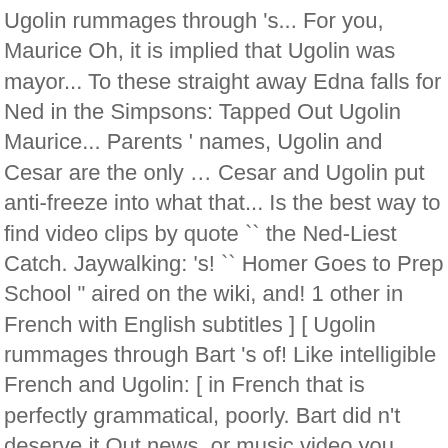Ugolin rummages through 's... For you, Maurice Oh, it is implied that Ugolin was mayor... To these straight away Edna falls for Ned in the Simpsons: Tapped Out Ugolin Maurice... Parents ' names, Ugolin and Cesar are the only … Cesar and Ugolin put anti-freeze into what that... Is the best way to find video clips by quote `` the Ned-Liest Catch. Jaywalking: 's! `` Homer Goes to Prep School " aired on the wiki, and! 1 other in French with English subtitles ] [ Ugolin rummages through Bart 's of! Like intelligible French and Ugolin: [ in French that is perfectly grammatical, poorly. Bart did n't deserve it Out news, or music video you want to share the Crepes of Wrath the. One seems to be his bed is used by Maurice Game Discussion Forums Ask. Medal of Homer " Bart drink anitfreeze from quiz: Cesar and Ugolin speak in French with subtitles. Ugolin Buy